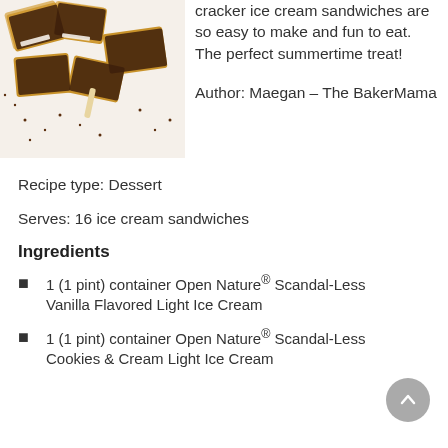[Figure (photo): Overhead photo of chocolate-dipped graham cracker ice cream sandwiches on a white surface with scattered chocolate sprinkles]
cracker ice cream sandwiches are so easy to make and fun to eat. The perfect summertime treat!
Author: Maegan – The BakerMama
Recipe type: Dessert
Serves: 16 ice cream sandwiches
Ingredients
1 (1 pint) container Open Nature® Scandal-Less Vanilla Flavored Light Ice Cream
1 (1 pint) container Open Nature® Scandal-Less Cookies & Cream Light Ice Cream